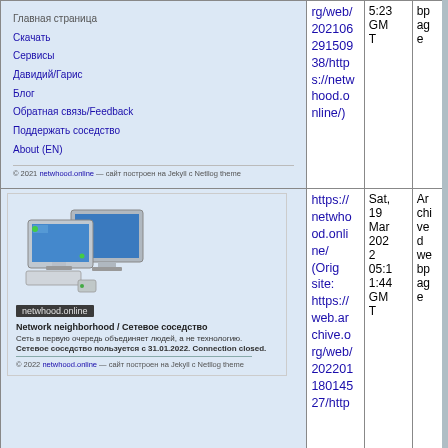| Preview | Link | Date | Type |
| --- | --- | --- | --- |
| [Website screenshot: netwhood.online navigation with menu items: Скачать, Сервисы, Давидий/Гарис, Блог, Обратная связь/Feedback, Поддержать соседство, About (EN). Footer: © 2021 netwhood.online — сайт построен на Jekyll с Netllog theme] | rg/web/20210629150938/https://netwhood.online/) | 10...5:23 GMT | bpage |
| [Website screenshot: netwhood.online with computer network icon, site name badge, tagline Network neighborhood / Сетевое соседство, description text, notice about closure 31.01.2022. Footer: © 2022 netwhood.online — сайт построен на Jekyll с Netllog theme] | https://netwhood.online/ (Orig site: https://web.archive.org/web/20220118014527/http... | Sat, 19 Mar 2022 05:11:44 GMT | Archived webpage |